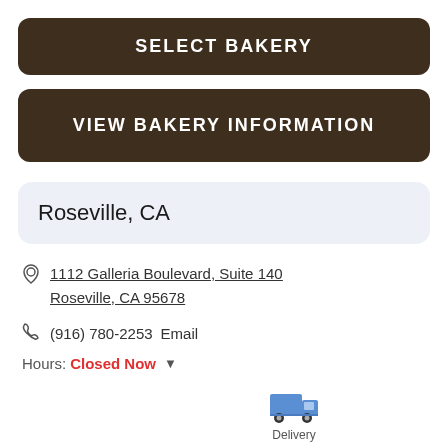SELECT BAKERY
VIEW BAKERY INFORMATION
Roseville, CA
1112 Galleria Boulevard, Suite 140 Roseville, CA 95678
(916) 780-2253   Email
Hours: Closed Now
[Figure (illustration): Delivery truck icon with label 'Delivery']